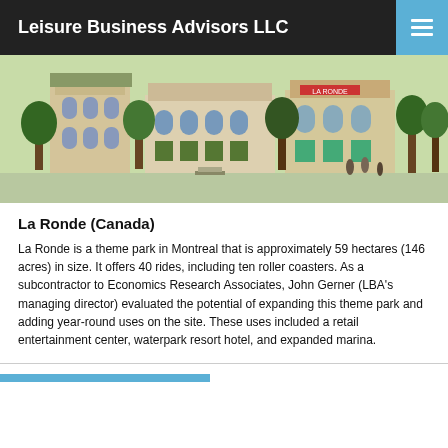Leisure Business Advisors LLC
[Figure (photo): Outdoor photograph of La Ronde theme park area in Montreal showing buildings with arched architecture, trees, and open plaza]
La Ronde (Canada)
La Ronde is a theme park in Montreal that is approximately 59 hectares (146 acres) in size. It offers 40 rides, including ten roller coasters. As a subcontractor to Economics Research Associates, John Gerner (LBA's managing director) evaluated the potential of expanding this theme park and adding year-round uses on the site. These uses included a retail entertainment center, waterpark resort hotel, and expanded marina.